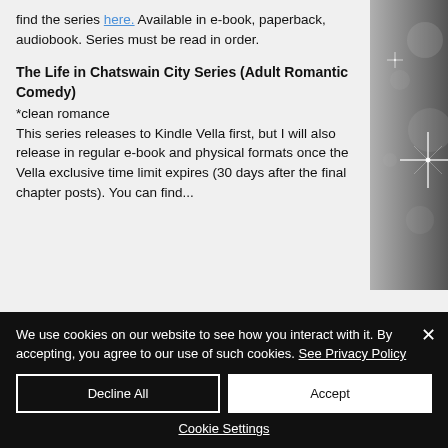find the series here. Available in e-book, paperback, audiobook. Series must be read in order.
The Life in Chatswain City Series (Adult Romantic Comedy)
*clean romance
This series releases to Kindle Vella first, but I will also release in regular e-book and physical formats once the Vella exclusive time limit expires (30 days after the final chapter posts). You can find...
We use cookies on our website to see how you interact with it. By accepting, you agree to our use of such cookies. See Privacy Policy
Decline All
Accept
Cookie Settings